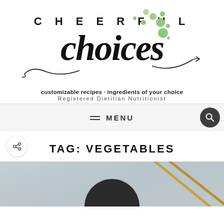[Figure (logo): Cheerful Choices logo with script font, green decorative dots, swirl accents, tagline: customizable recipes · ingredients of your choice, Registered Dietitian Nutritionist]
MENU
TAG: VEGETABLES
[Figure (photo): Partial photo of a bowl with food, visible at bottom of page]